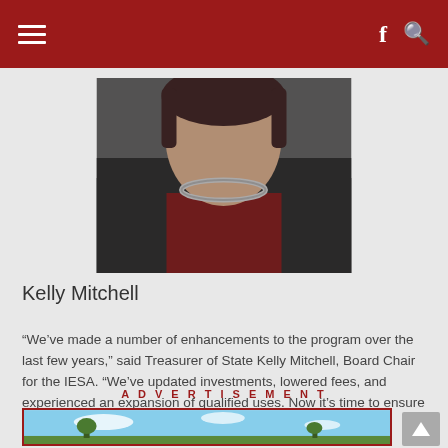Navigation bar with hamburger menu, Facebook icon, and search icon
[Figure (photo): Portrait photo of Kelly Mitchell, a woman wearing a dark blazer and necklace over a red top, cropped at shoulders]
Kelly Mitchell
“We’ve made a number of enhancements to the program over the last few years,” said Treasurer of State Kelly Mitchell, Board Chair for the IESA. “We’ve updated investments, lowered fees, and experienced an expansion of qualified uses. Now it’s time to ensure our name and brand match the evolving program.”
ADVERTISEMENT
[Figure (photo): Advertisement image showing a landscape with blue sky and trees]